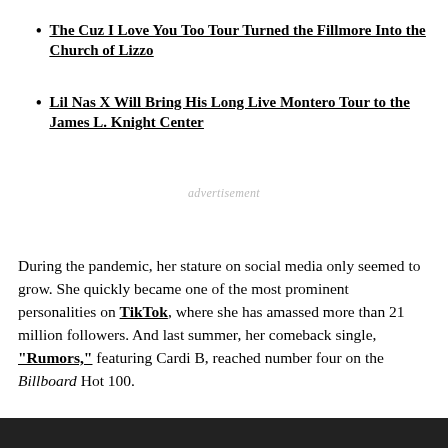The Cuz I Love You Too Tour Turned the Fillmore Into the Church of Lizzo
Lil Nas X Will Bring His Long Live Montero Tour to the James L. Knight Center
advertisement
During the pandemic, her stature on social media only seemed to grow. She quickly became one of the most prominent personalities on TikTok, where she has amassed more than 21 million followers. And last summer, her comeback single, "Rumors," featuring Cardi B, reached number four on the Billboard Hot 100.
[Figure (photo): Bottom partial image, dark background with partial view of a figure]